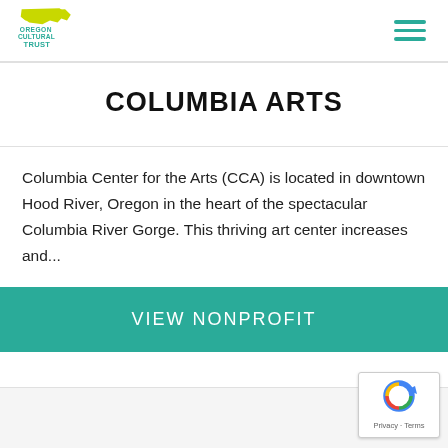[Figure (logo): Oregon Cultural Trust logo with yellow-green Oregon state shape and teal text reading CULTURAL TRUST]
COLUMBIA ARTS
Columbia Center for the Arts (CCA) is located in downtown Hood River, Oregon in the heart of the spectacular Columbia River Gorge. This thriving art center increases and...
VIEW NONPROFIT